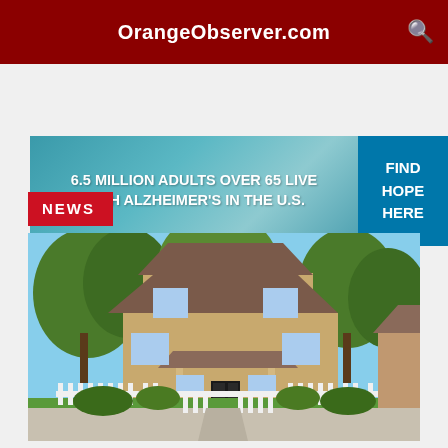OrangeObserver.com
[Figure (infographic): Advertisement banner: '6.5 MILLION ADULTS OVER 65 LIVE WITH ALZHEIMER'S IN THE U.S.' with teal background and 'FIND HOPE HERE' call-to-action on right side]
NEWS
[Figure (photo): Exterior photo of a two-story craftsman-style house with tan/khaki siding, brown roof, white picket fence in front, surrounded by large green trees, blue sky background, green lawn, sidewalk in foreground with mailbox]